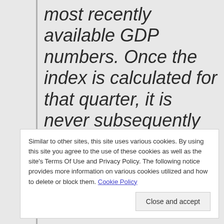most recently available GDP numbers. Once the index is calculated for that quarter, it is never subsequently revised. The value at every date was inferred using only data that were available one quarter after that date and as those data were reported at the time.
Similar to other sites, this site uses various cookies. By using this site you agree to the use of these cookies as well as the site's Terms Of Use and Privacy Policy. The following notice provides more information on various cookies utilized and how to delete or block them. Cookie Policy
economy has entered a recession. Once this threshold